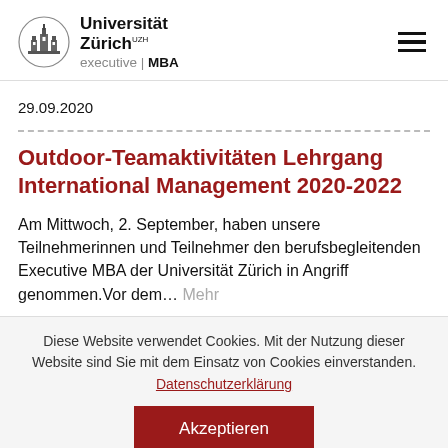Universität Zürich UZH executive | MBA
29.09.2020
Outdoor-Teamaktivitäten Lehrgang International Management 2020-2022
Am Mittwoch, 2. September, haben unsere Teilnehmerinnen und Teilnehmer den berufsbegleitenden Executive MBA der Universität Zürich in Angriff genommen.Vor dem… Mehr
Diese Website verwendet Cookies. Mit der Nutzung dieser Website sind Sie mit dem Einsatz von Cookies einverstanden. Datenschutzerklärung
Akzeptieren